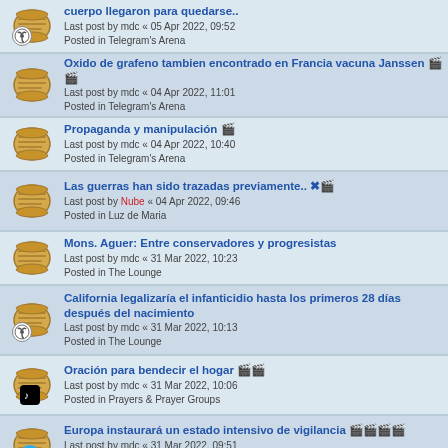cuerpo llegaron para quedarse.. Last post by mdc « 05 Apr 2022, 09:52 Posted in Telegram's Arena
Oxido de grafeno tambien encontrado en Francia vacuna Janssen 🎬🎬 Last post by mdc « 04 Apr 2022, 11:01 Posted in Telegram's Arena
Propaganda y manipulación 🎬 Last post by mdc « 04 Apr 2022, 10:40 Posted in Telegram's Arena
Las guerras han sido trazadas previamente.. ✖🎬 Last post by Nube « 04 Apr 2022, 09:46 Posted in Luz de Maria
Mons. Aguer: Entre conservadores y progresistas Last post by mdc « 31 Mar 2022, 10:23 Posted in The Lounge
California legalizaría el infanticidio hasta los primeros 28 días después del nacimiento Last post by mdc « 31 Mar 2022, 10:13 Posted in The Lounge
Oración para bendecir el hogar 🎬🎬 Last post by mdc « 31 Mar 2022, 10:06 Posted in Prayers & Prayer Groups
Europa instaurará un estado intensivo de vigilancia 🎬🎬🎬🎬 Last post by mdc « 31 Mar 2022, 09:51 Posted in Telegram's Arena
El 28 de marzo se manifestó una imagen de la Virgen María